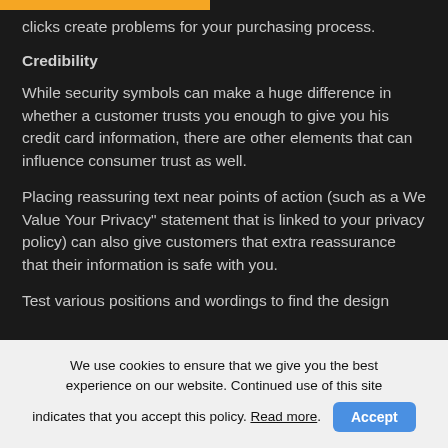clicks create problems for your purchasing process.
Credibility
While security symbols can make a huge difference in whether a customer trusts you enough to give you his credit card information, there are other elements that can influence consumer trust as well.
Placing reassuring text near points of action (such as a We Value Your Privacy” statement that is linked to your privacy policy) can also give customers that extra reassurance that their information is safe with you.
Test various positions and wordings to find the design
We use cookies to ensure that we give you the best experience on our website. Continued use of this site indicates that you accept this policy. Read more. Accept